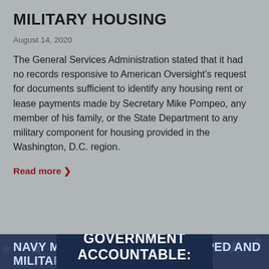MILITARY HOUSING
August 14, 2020
The General Services Administration stated that it had no records responsive to American Oversight's request for documents sufficient to identify any housing rent or lease payments made by Secretary Mike Pompeo, any member of his family, or the State Department to any military component for housing provided in the Washington, D.C. region.
Read more ›
NAVY MEMOS REGARDING POMPED AND MILITARY HOUSING
August 11, 2020
HOLD GOVERNMENT ACCOUNTABLE: